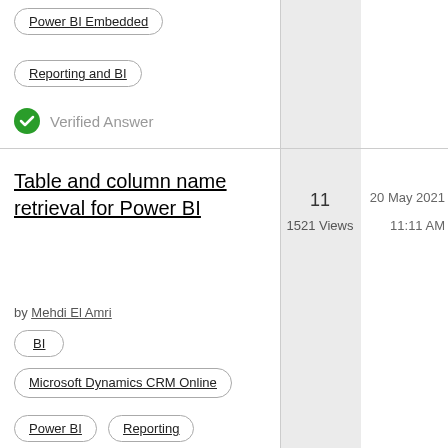Power BI Embedded
Reporting and BI
Verified Answer
Table and column name retrieval for Power BI
by Mehdi El Amri
BI
Microsoft Dynamics CRM Online
Power BI
Reporting
11
1521 Views
20 May 2021
11:11 AM